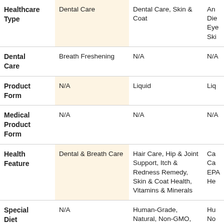|  | Col1 | Col2 | Col3(partial) |
| --- | --- | --- | --- |
| Healthcare Type | Dental Care | Dental Care, Skin & Coat | An Die Eye Ski |
| Dental Care | Breath Freshening | N/A | N/A |
| Product Form | N/A | Liquid | Liq |
| Medical Product Form | N/A | N/A | N/A |
| Health Feature | Dental & Breath Care | Hair Care, Hip & Joint Support, Itch & Redness Remedy, Skin & Coat Health, Vitamins & Minerals | Ca Ca EPA He |
| Special Diet | N/A | Human-Grade, Natural, Non-GMO, Vegetarian | Hu No |